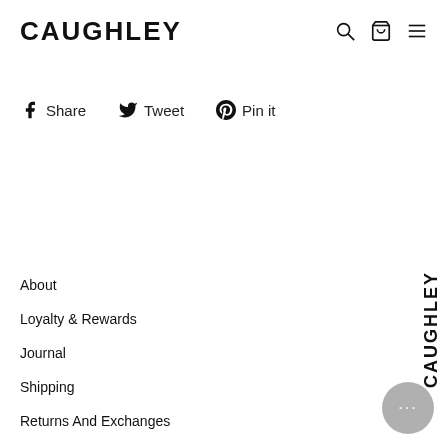CAUGHLEY
Share  Tweet  Pin it
About
Loyalty & Rewards
Journal
Shipping
Returns And Exchanges